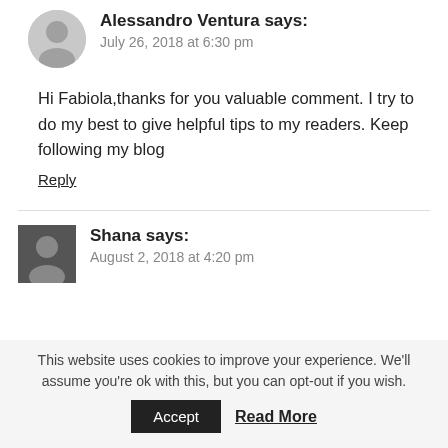Alessandro Ventura says: July 26, 2018 at 6:30 pm
Hi Fabiola,thanks for you valuable comment. I try to do my best to give helpful tips to my readers. Keep following my blog
Reply
Shana says: August 2, 2018 at 4:20 pm
This website uses cookies to improve your experience. We'll assume you're ok with this, but you can opt-out if you wish.
Accept  Read More